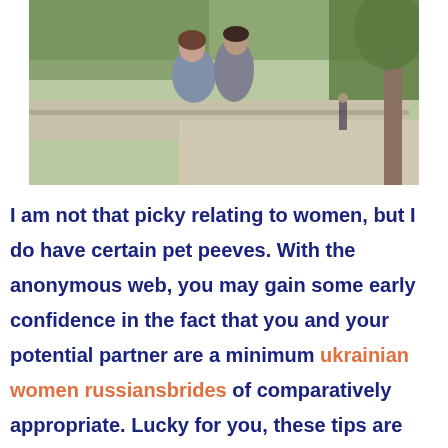[Figure (photo): A couple embracing outdoors on a stone walkway, with trees in the background and other people visible in the distance.]
I am not that picky relating to women, but I do have certain pet peeves. With the anonymous web, you may gain some early confidence in the fact that you and your potential partner are a minimum ukrainian women russiansbrides of comparatively appropriate. Lucky for you, these tips are exactly what you are getting today. The